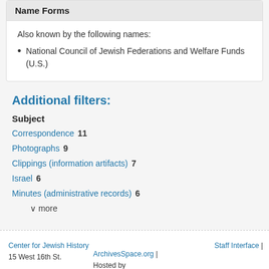Name Forms
Also known by the following names:
National Council of Jewish Federations and Welfare Funds (U.S.)
Additional filters:
Subject
Correspondence  11
Photographs  9
Clippings (information artifacts)  7
Israel  6
Minutes (administrative records)  6
∨ more
Center for Jewish History
15 West 16th St.
ArchivesSpace.org | Hosted by
Staff Interface |